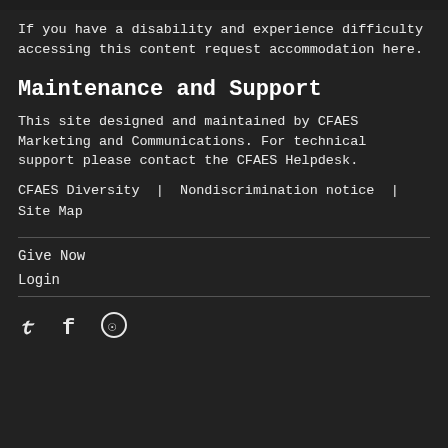If you have a disability and experience difficulty accessing this content request accommodation here.
Maintenance and Support
This site designed and maintained by CFAES Marketing and Communications. For technical support please contact the CFAES Helpdesk.
CFAES Diversity | Nondiscrimination notice | Site Map
Give Now
Login
[Figure (other): Social media icons: Twitter bird, Facebook f, and a circular icon]